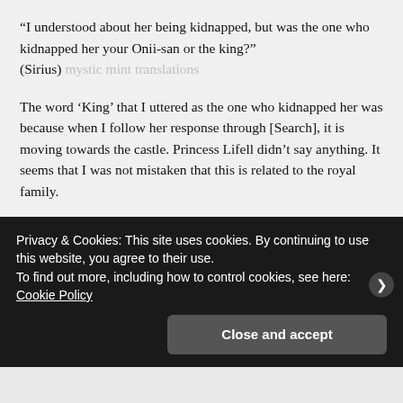“I understood about her being kidnapped, but was the one who kidnapped her your Onii-san or the king?” (Sirius)
The word ‘King’ that I uttered as the one who kidnapped her was because when I follow her response through [Search], it is moving towards the castle. Princess Lifell didn’t say anything. It seems that I was not mistaken that this is related to the royal family.
“You can no longer going back if you dig deeper, you know? Despite being the first in line to succeed the throne, there is a
Privacy & Cookies: This site uses cookies. By continuing to use this website, you agree to their use.
To find out more, including how to control cookies, see here: Cookie Policy
Close and accept